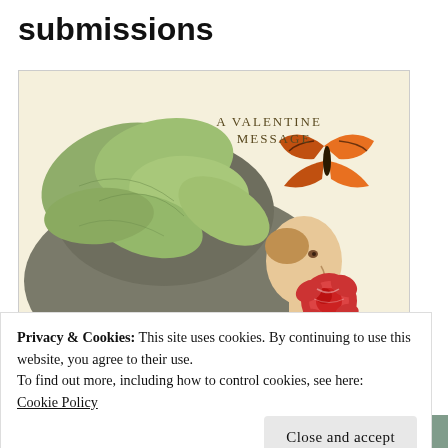submissions
[Figure (photo): Vintage Valentine's Day postcard showing a woman in profile wearing a large decorative hat with green feathers. Text on the card reads 'A VALENTINE MESSAGE'. A butterfly and a red rose are also depicted.]
Privacy & Cookies: This site uses cookies. By continuing to use this website, you agree to their use.
To find out more, including how to control cookies, see here:
Cookie Policy
Close and accept